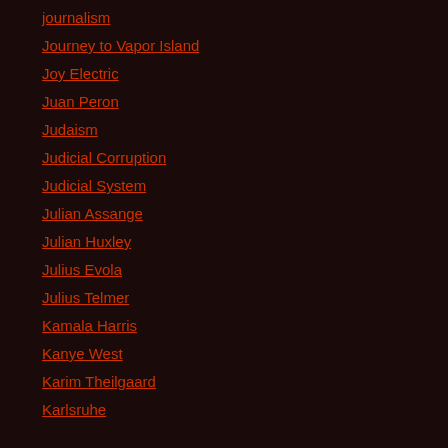journalism
Journey to Vapor Island
Joy Electric
Juan Peron
Judaism
Judicial Corruption
Judicial System
Julian Assange
Julian Huxley
Julius Evola
Julius Telmer
Kamala Harris
Kanye West
Karim Theilgaard
Karlsruhe